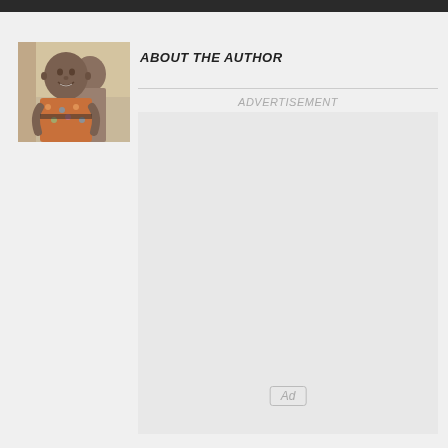[Figure (photo): Author photo showing a smiling person in a colorful patterned shirt, with another person partially visible behind them, in front of a light-colored wall.]
ABOUT THE AUTHOR
ADVERTISEMENT
[Figure (other): Empty advertisement placeholder box with 'Ad' label in bottom center.]